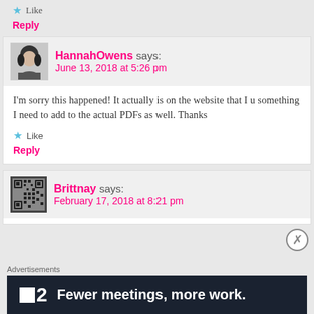★ Like
Reply
HannahOwens says:
June 13, 2018 at 5:26 pm
I'm sorry this happened! It actually is on the website that I u something I need to add to the actual PDFs as well. Thanks
★ Like
Reply
Brittnay says:
February 17, 2018 at 8:21 pm
Advertisements
[Figure (screenshot): Dark banner advertisement showing '2 Fewer meetings, more work.' with a logo on the left]